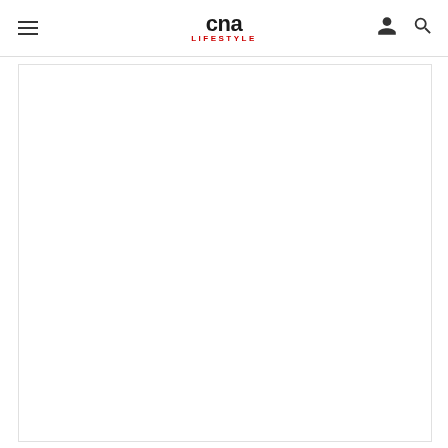CNA LIFESTYLE
[Figure (other): Large white content area placeholder with light border, below the CNA Lifestyle navigation header]